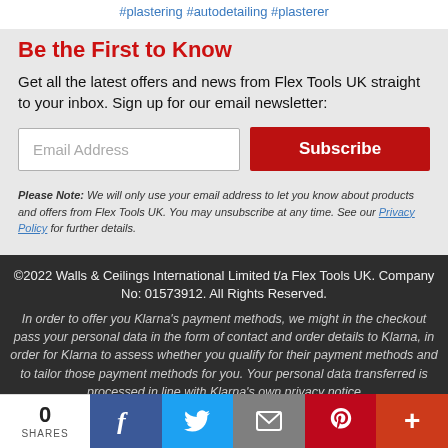#plastering #autodetailing #plasterer
Be the First to Know
Get all the latest offers and news from Flex Tools UK straight to your inbox. Sign up for our email newsletter:
Please Note: We will only use your email address to let you know about products and offers from Flex Tools UK. You may unsubscribe at any time. See our Privacy Policy for further details.
©2022 Walls & Ceilings International Limited t/a Flex Tools UK. Company No: 01573912. All Rights Reserved.
In order to offer you Klarna's payment methods, we might in the checkout pass your personal data in the form of contact and order details to Klarna, in order for Klarna to assess whether you qualify for their payment methods and to tailor those payment methods for you. Your personal data transferred is processed in line with Klarna's own privacy notice